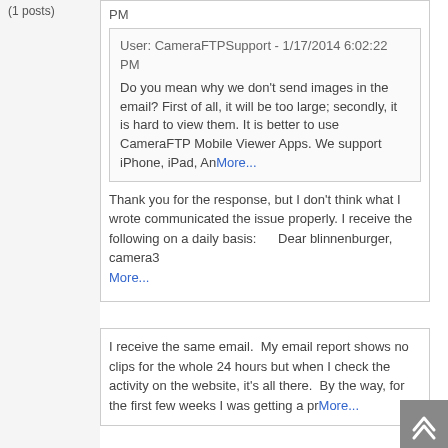(1 posts)
PM
User: CameraFTPSupport  -  1/17/2014 6:02:22 PM
Do you mean why we don't send images in the email? First of all, it will be too large; secondly, it is hard to view them. It is better to use CameraFTP Mobile Viewer Apps. We support iPhone, iPad, AnMore...
Thank you for the response, but I don't think what I wrote communicated the issue properly. I receive the following on a daily basis:      Dear blinnenburger,    camera3 More...
I receive the same email.  My email report shows no clips for the whole 24 hours but when I check the activity on the website, it's all there.  By the way, for the first few weeks I was getting a prMore...